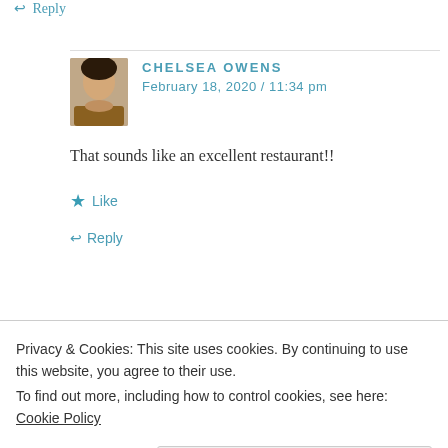↩ Reply
CHELSEA OWENS
February 18, 2020 / 11:34 pm
That sounds like an excellent restaurant!!
★ Like
↩ Reply
CAROLCOOKS2
Privacy & Cookies: This site uses cookies. By continuing to use this website, you agree to their use.
To find out more, including how to control cookies, see here: Cookie Policy
Close and accept
↩ Reply